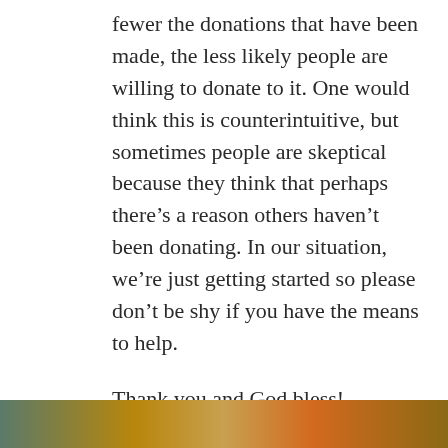fewer the donations that have been made, the less likely people are willing to donate to it. One would think this is counterintuitive, but sometimes people are skeptical because they think that perhaps there's a reason others haven't been donating. In our situation, we're just getting started so please don't be shy if you have the means to help.
Thank you and God bless!
JD Rucker
[Figure (photo): Partial image strip at bottom of page showing food items]